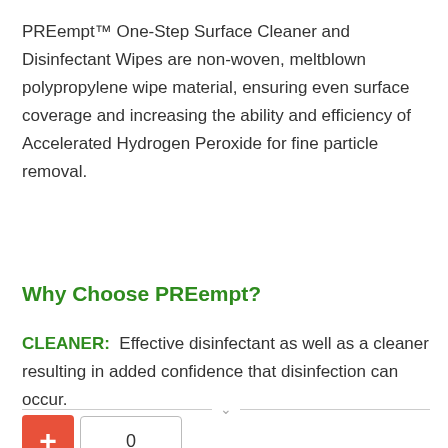PREempt™ One-Step Surface Cleaner and Disinfectant Wipes are non-woven, meltblown polypropylene wipe material, ensuring even surface coverage and increasing the ability and efficiency of Accelerated Hydrogen Peroxide for fine particle removal.
Why Choose PREempt?
CLEANER:  Effective disinfectant as well as a cleaner resulting in added confidence that disinfection can occur.
[Figure (other): Horizontal divider line with a downward chevron arrow in the center]
[Figure (other): Add to cart UI: orange plus button and quantity input box showing 0]